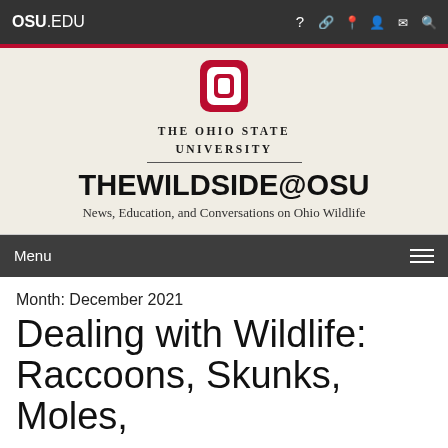OSU.EDU
[Figure (logo): The Ohio State University Block O logo in red with white center, above the text THE OHIO STATE UNIVERSITY in serif caps]
THEWILDSIDE@OSU
News, Education, and Conversations on Ohio Wildlife
Menu
Month: December 2021
Dealing with Wildlife: Raccoons, Skunks, Moles,